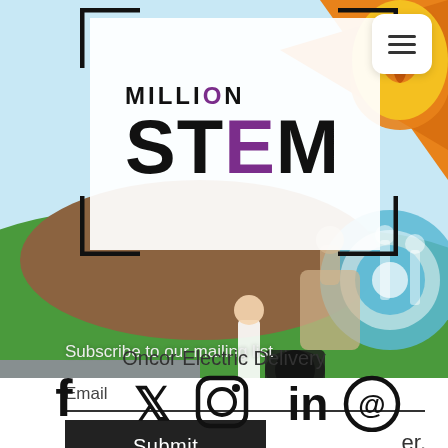[Figure (screenshot): Million STEM website screenshot showing logo with bracket frame over a colorful mural background, hamburger menu button, subscribe form with email field and submit button, Oncor Electric Delivery text, and social media icons (Facebook, Twitter, Instagram, LinkedIn, Threads)]
MILLION STEM
Subscribe to our mailing list
Email
Submit
er,
Oncor Electric Delivery